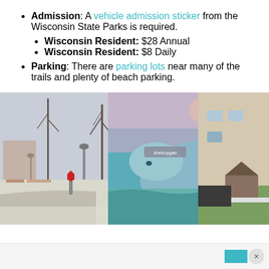Admission: A vehicle admission sticker from the Wisconsin State Parks is required.
Wisconsin Resident: $28 Annual
Wisconsin Resident: $8 Daily
Parking: There are parking lots near many of the trails and plenty of beach parking.
[Figure (photo): A composite photo showing three scenes: a winter street with bare trees and lamp posts on the left, a large whale mural painted on a building wall in the center, and a house with a colorful fence and playground on the right.]